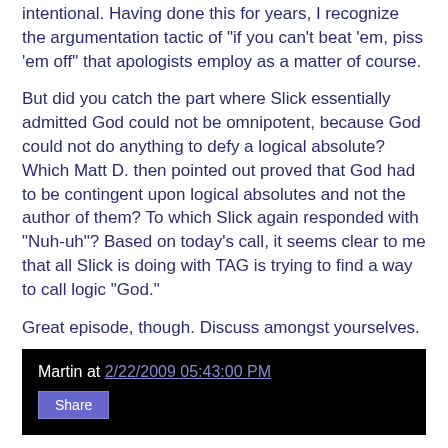intentional. Having done this for years, I recognize the argumentation tactic of "if you can't beat 'em, piss 'em off" that apologists employ as a matter of course.
But did you catch the part where Slick essentially admitted God could not be omnipotent, because God could not do anything to defy a logical absolute? Which Matt D. then pointed out proved that God had to be contingent upon logical absolutes and not the author of them? To which Slick again responded with "Nuh-uh"? Based on today's call, it seems clear to me that all Slick is doing with TAG is trying to find a way to call logic "God."
Great episode, though. Discuss amongst yourselves.
Martin at 2/22/2009 05:43:00 PM
Share
82 comments:
TheBrainFromPlanetArous  2/22/2009 6:30 PM